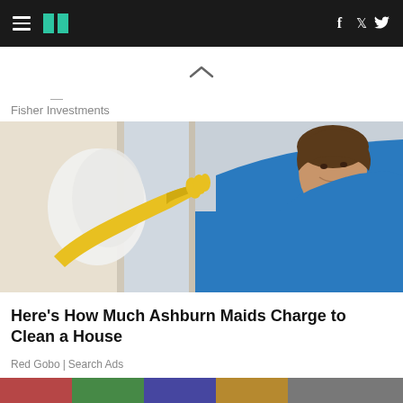HuffPost navigation with hamburger menu, logo, Facebook and Twitter icons
[Figure (other): Upward chevron arrow indicating collapse/scroll up for ad]
Fisher Investments
[Figure (photo): Woman in blue shirt wearing yellow rubber cleaning gloves, smiling while cleaning a window or surface]
Here's How Much Ashburn Maids Charge to Clean a House
Red Gobo | Search Ads
[Figure (photo): Partial bottom image, colorful, partially visible at bottom of page]